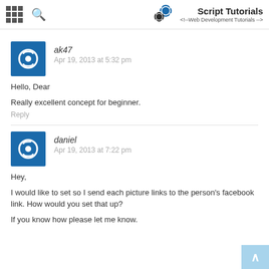Script Tutorials <!--Web Development Tutorials-->
ak47
Apr 19, 2013 at 5:32 pm
Hello, Dear
Really excellent concept for beginner.
Reply
daniel
Apr 19, 2013 at 7:22 pm
Hey,
I would like to set so I send each picture links to the person's facebook link. How would you set that up?
If you know how please let me know.